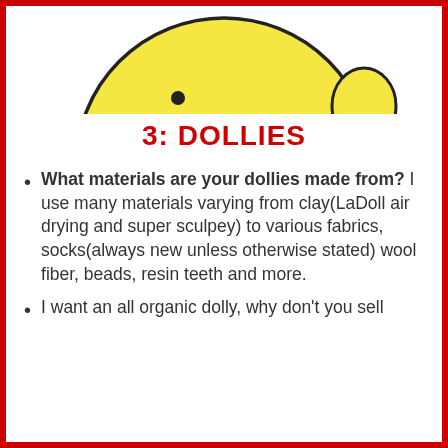[Figure (illustration): Cartoon illustration of a round yellow character (doll/creature) seen from the torso up with a small black eye visible, against white background]
3: DOLLIES
What materials are your dollies made from? I use many materials varying from clay(LaDoll air drying and super sculpey) to various fabrics, socks(always new unless otherwise stated) wool fiber, beads, resin teeth and more.
I want an all organic dolly, why don't you sell